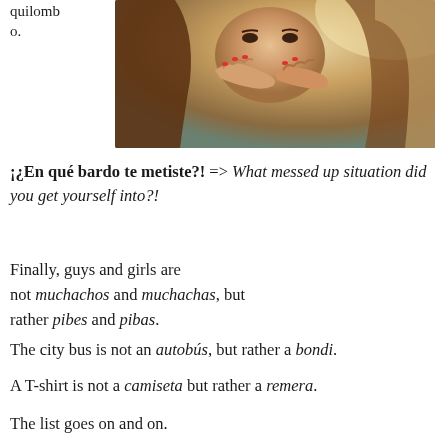quilombo.
[Figure (photo): A young woman covering her mouth with both hands, surprised expression, warm sunlit background]
¡¿En qué bardo te metiste?! => What messed up situation did you get yourself into?!
Finally, guys and girls are not muchachos and muchachas, but rather pibes and pibas.
The city bus is not an autobús, but rather a bondi.
A T-shirt is not a camiseta but rather a remera.
The list goes on and on.